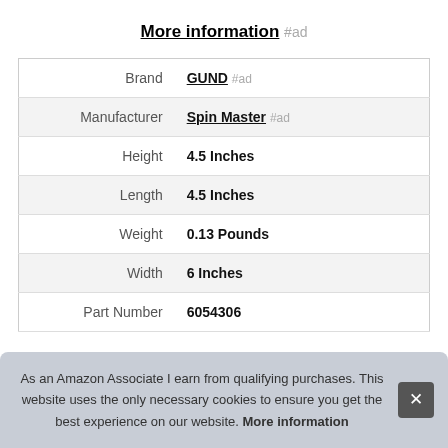More information #ad
| Property | Value |
| --- | --- |
| Brand | GUND #ad |
| Manufacturer | Spin Master #ad |
| Height | 4.5 Inches |
| Length | 4.5 Inches |
| Weight | 0.13 Pounds |
| Width | 6 Inches |
| Part Number | 6054306 |
As an Amazon Associate I earn from qualifying purchases. This website uses the only necessary cookies to ensure you get the best experience on our website. More information